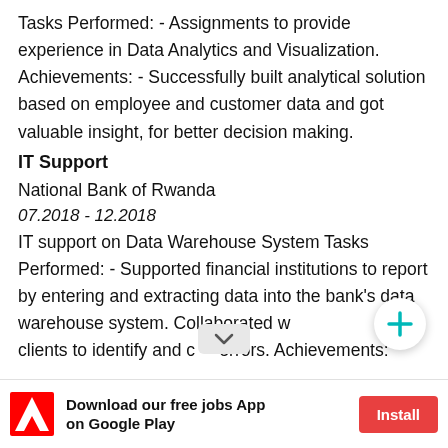Tasks Performed: - Assignments to provide experience in Data Analytics and Visualization. Achievements: - Successfully built analytical solution based on employee and customer data and got valuable insight, for better decision making.
IT Support
National Bank of Rwanda
07.2018 - 12.2018
IT support on Data Warehouse System Tasks Performed: - Supported financial institutions to report by entering and extracting data into the bank's data warehouse system. Collaborated w clients to identify and errors. Achievements:
[Figure (other): Floating action button with plus sign (+) and a dropdown chevron button overlay]
[Figure (other): Ad banner: Adobe-style logo, 'Download our free jobs App on Google Play', Install button]